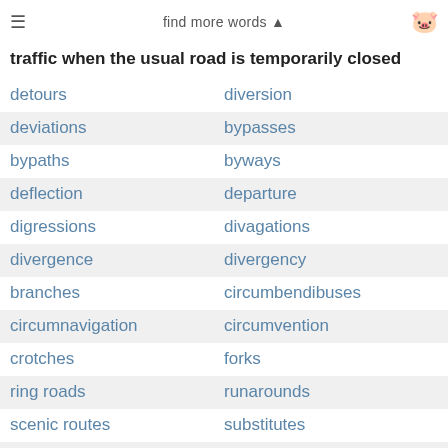find more words ▲
traffic when the usual road is temporarily closed
detours | diversion
deviations | bypasses
bypaths | byways
deflection | departure
digressions | divagations
divergence | divergency
branches | circumbendibuses
circumnavigation | circumvention
crotches | forks
ring roads | runarounds
scenic routes | substitutes
rat runs | relief roads